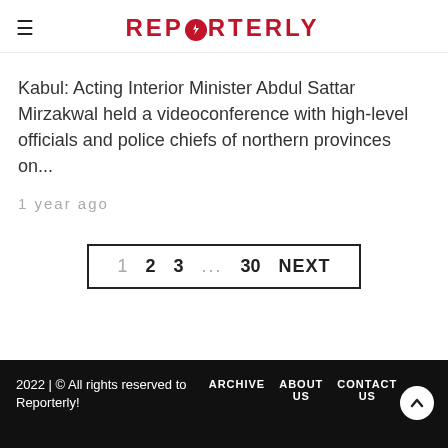REPORTERLY
Kabul: Acting Interior Minister Abdul Sattar Mirzakwal held a videoconference with high-level officials and police chiefs of northern provinces on...
1 year ago
1  2  3  ...  30  NEXT
2022 | © All rights reserved to Reporterly!  ARCHIVE  ABOUT US  CONTACT US